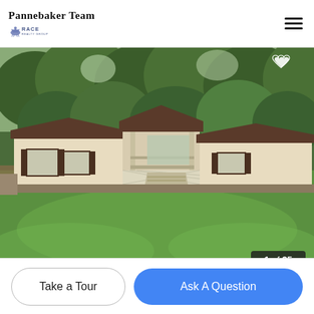Pannebaker Team — Race Realty logo — hamburger menu
[Figure (photo): Exterior photo of a single-story manufactured home with beige siding, brown shutters, covered front porch with white lattice skirting, set against a backdrop of dense green trees, with a large green lawn in the foreground. Photo counter shows 1 of 25.]
Take a Tour
Ask A Question